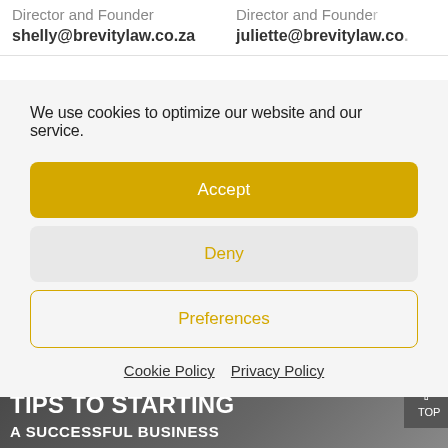Director and Founder
shelly@brevitylaw.co.za
Director and Founder
juliette@brevitylaw.co...
We use cookies to optimize our website and our service.
Accept
Deny
Preferences
Cookie Policy   Privacy Policy
[Figure (photo): Background image with text overlay: CUBEOWS / TIPS TO STARTING / A SUCCESSFUL BUSINESS, with a photograph of a person in an urban setting.]